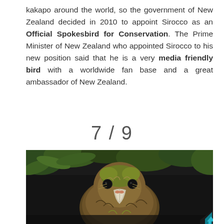kakapo around the world, so the government of New Zealand decided in 2010 to appoint Sirocco as an Official Spokesbird for Conservation. The Prime Minister of New Zealand who appointed Sirocco to his new position said that he is a very media friendly bird with a worldwide fan base and a great ambassador of New Zealand.
7 / 9
[Figure (photo): Close-up photograph of a kakapo bird facing the camera, showing its brown-green feathers, large curved beak, and round dark eye, with green foliage in the background.]